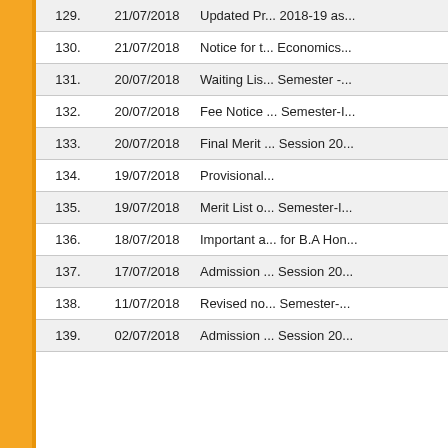| No. | Date | Title |
| --- | --- | --- |
| 129. | 21/07/2018 | Updated Pr... 2018-19 as... |
| 130. | 21/07/2018 | Notice for t... Economics... |
| 131. | 20/07/2018 | Waiting Lis... Semester -... |
| 132. | 20/07/2018 | Fee Notice ... Semester-I... |
| 133. | 20/07/2018 | Final Merit ... Session 20... |
| 134. | 19/07/2018 | Provisional... |
| 135. | 19/07/2018 | Merit List o... Semester-I... |
| 136. | 18/07/2018 | Important a... for B.A Hon... |
| 137. | 17/07/2018 | Admission ... Session 20... |
| 138. | 11/07/2018 | Revised no... Semester-... |
| 139. | 02/07/2018 | Admission ... Session 20... |